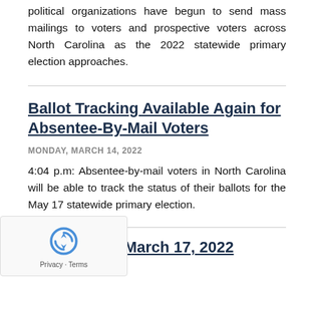political organizations have begun to send mass mailings to voters and prospective voters across North Carolina as the 2022 statewide primary election approaches.
Ballot Tracking Available Again for Absentee-By-Mail Voters
MONDAY, MARCH 14, 2022
4:04 p.m: Absentee-by-mail voters in North Carolina will be able to track the status of their ballots for the May 17 statewide primary election.
ard Meeting: March 17, 2022